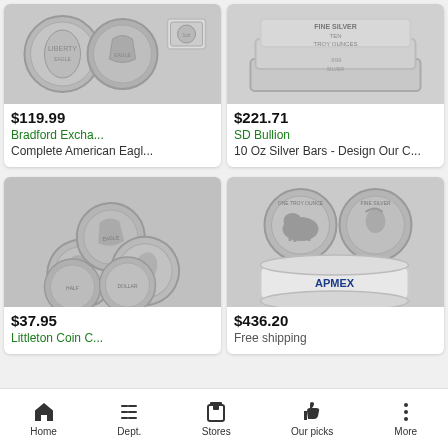[Figure (photo): Two silver American Eagle coins shown front and back, plus a coin in plastic case]
$119.99
Bradford Excha...
Complete American Eagl...
[Figure (photo): Silver bars with text FINE SILVER TEN TROY OUNCES stacked]
$221.71
SD Bullion
10 Oz Silver Bars - Design Our C...
[Figure (photo): Collection of silver commemorative coins fanned out showing various designs including portraits]
$37.95
Littleton Coin C...
[Figure (photo): Silver buffalo rounds showing bison design and Native American profile, with APMEX branded roll of coins]
$436.20
Free shipping
Home  Dept.  Stores  Our picks  More